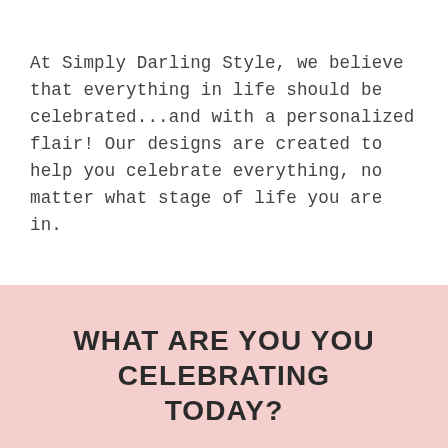At Simply Darling Style, we believe that everything in life should be celebrated...and with a personalized flair! Our designs are created to help you celebrate everything, no matter what stage of life you are in.
WHAT ARE YOU CELEBRATING TODAY?
[Figure (illustration): A teal party hat with a pink pompom and yellow dots at top, and a yellow brim at the bottom, alongside two champagne glasses clinking with teal sparkle lines and bubbles, in a salmon/coral color.]